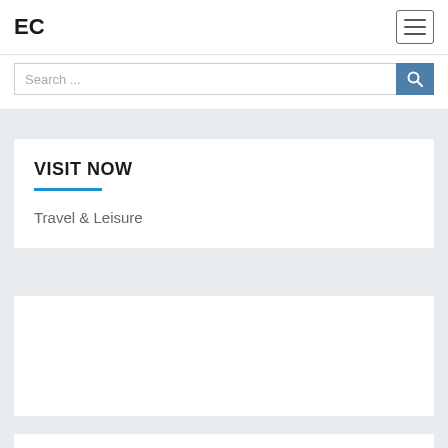EC
[Figure (screenshot): Search input field with placeholder text 'Search...' and a blue search button icon on the right]
VISIT NOW
Travel & Leisure